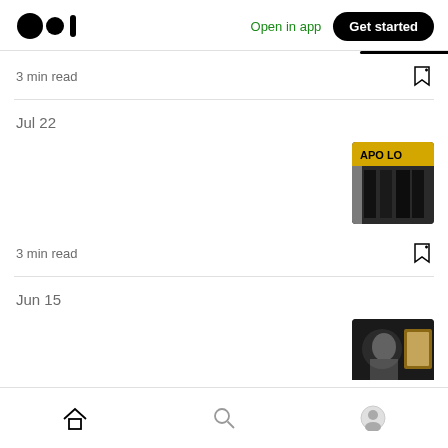Medium logo | Open in app | Get started
3 min read
Jul 22
[Figure (photo): Apollo theater or book store image with yellow banner reading APOLLO]
3 min read
Jun 15
[Figure (photo): Person in front of a painting in a dark setting]
4 min read
Home | Search | Profile navigation icons